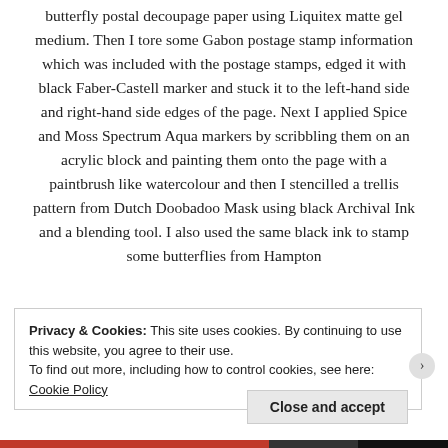butterfly postal decoupage paper using Liquitex matte gel medium. Then I tore some Gabon postage stamp information which was included with the postage stamps, edged it with black Faber-Castell marker and stuck it to the left-hand side and right-hand side edges of the page. Next I applied Spice and Moss Spectrum Aqua markers by scribbling them on an acrylic block and painting them onto the page with a paintbrush like watercolour and then I stencilled a trellis pattern from Dutch Doobadoo Mask using black Archival Ink and a blending tool. I also used the same black ink to stamp some butterflies from Hampton
Privacy & Cookies: This site uses cookies. By continuing to use this website, you agree to their use.
To find out more, including how to control cookies, see here: Cookie Policy
Close and accept